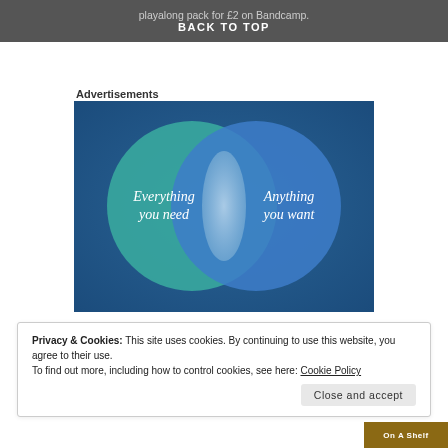playalong pack for £2 on Bandcamp. BACK TO TOP
Advertisements
[Figure (infographic): Venn diagram with two overlapping circles on a blue/teal gradient background. Left circle (teal/green) labeled 'Everything you need'. Right circle (blue) labeled 'Anything you want'. The overlapping area is a lighter blue-white.]
Privacy & Cookies: This site uses cookies. By continuing to use this website, you agree to their use.
To find out more, including how to control cookies, see here: Cookie Policy
Close and accept